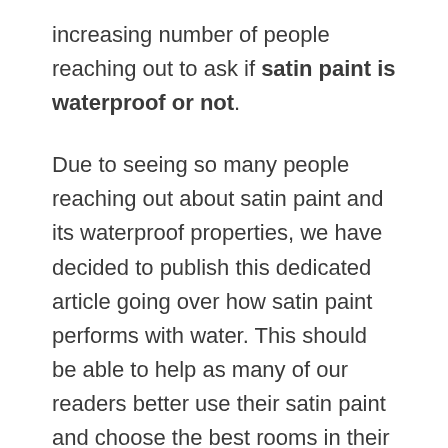increasing number of people reaching out to ask if satin paint is waterproof or not.
Due to seeing so many people reaching out about satin paint and its waterproof properties, we have decided to publish this dedicated article going over how satin paint performs with water. This should be able to help as many of our readers better use their satin paint and choose the best rooms in their home to use it in so they have minimal issues.